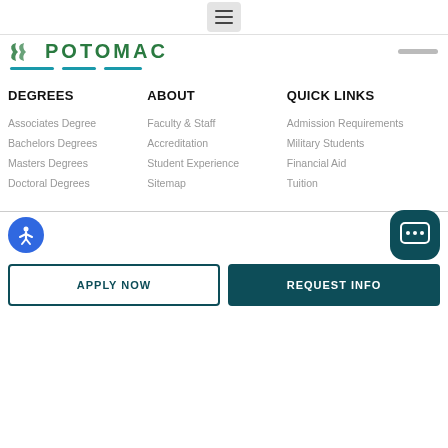[Figure (logo): Potomac university logo with green leaf/chevron icon and green POTOMAC text]
DEGREES
ABOUT
QUICK LINKS
Associates Degree
Bachelors Degrees
Masters Degrees
Doctoral Degrees
Faculty & Staff
Accreditation
Student Experience
Sitemap
Admission Requirements
Military Students
Financial Aid
Tuition
APPLY NOW
REQUEST INFO